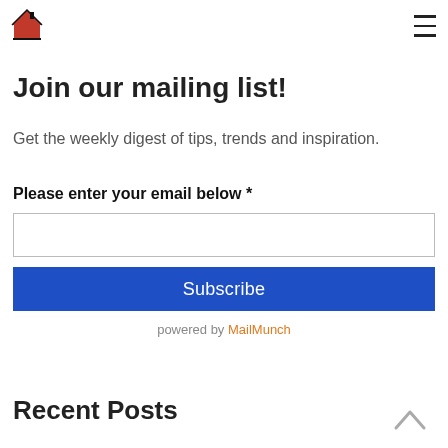[Figure (logo): Red house logo icon with black roof outline]
≡
Join our mailing list!
Get the weekly digest of tips, trends and inspiration.
Please enter your email below *
Subscribe
powered by MailMunch
Recent Posts